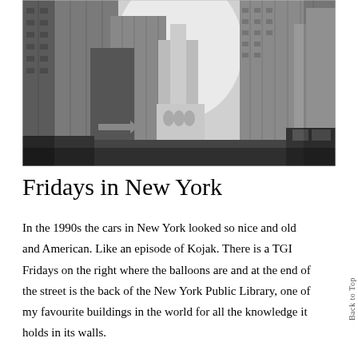[Figure (photo): Black and white photograph of a New York City street canyon looking up between tall skyscrapers, with the back of the New York Public Library visible at the end of the street.]
Fridays in New York
In the 1990s the cars in New York looked so nice and old and American. Like an episode of Kojak. There is a TGI Fridays on the right where the balloons are and at the end of the street is the back of the New York Public Library, one of my favourite buildings in the world for all the knowledge it holds in its walls.